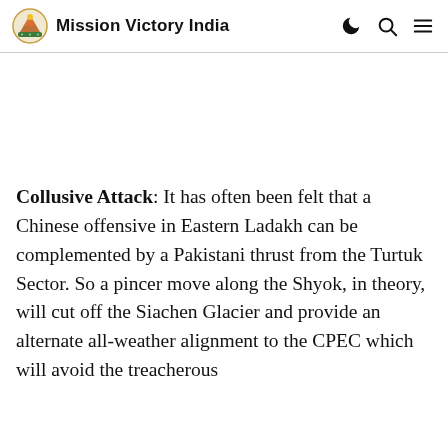Mission Victory India
Collusive Attack: It has often been felt that a Chinese offensive in Eastern Ladakh can be complemented by a Pakistani thrust from the Turtuk Sector. So a pincer move along the Shyok, in theory, will cut off the Siachen Glacier and provide an alternate all-weather alignment to the CPEC which will avoid the treacherous...